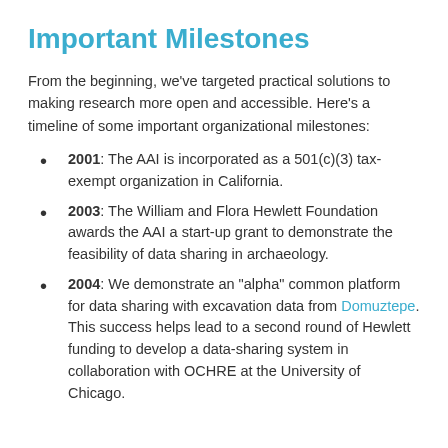Important Milestones
From the beginning, we've targeted practical solutions to making research more open and accessible. Here's a timeline of some important organizational milestones:
2001: The AAI is incorporated as a 501(c)(3) tax-exempt organization in California.
2003: The William and Flora Hewlett Foundation awards the AAI a start-up grant to demonstrate the feasibility of data sharing in archaeology.
2004: We demonstrate an "alpha" common platform for data sharing with excavation data from Domuztepe. This success helps lead to a second round of Hewlett funding to develop a data-sharing system in collaboration with OCHRE at the University of Chicago.